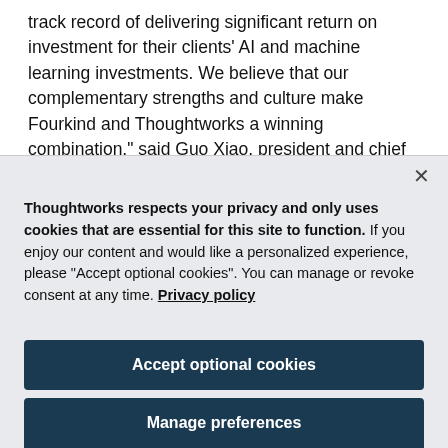track record of delivering significant return on investment for their clients' AI and machine learning investments. We believe that our complementary strengths and culture make Fourkind and Thoughtworks a winning combination," said Guo Xiao, president and chief executive officer, Thoughtworks.
Thoughtworks respects your privacy and only uses cookies that are essential for this site to function. If you enjoy our content and would like a personalized experience, please "Accept optional cookies". You can manage or revoke consent at any time. Privacy policy
Accept optional cookies
Manage preferences